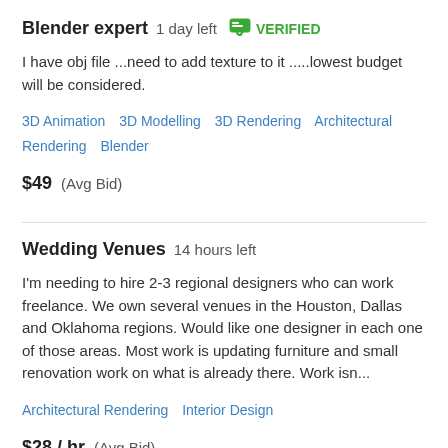Blender expert  1 day left  VERIFIED
I have obj file ...need to add texture to it .....lowest budget will be considered.
3D Animation  3D Modelling  3D Rendering  Architectural Rendering  Blender
$49  (Avg Bid)
Wedding Venues  14 hours left
I'm needing to hire 2-3 regional designers who can work freelance. We own several venues in the Houston, Dallas and Oklahoma regions. Would like one designer in each one of those areas. Most work is updating furniture and small renovation work on what is already there. Work isn...
Architectural Rendering  Interior Design
$28 / hr  (Avg Bid)